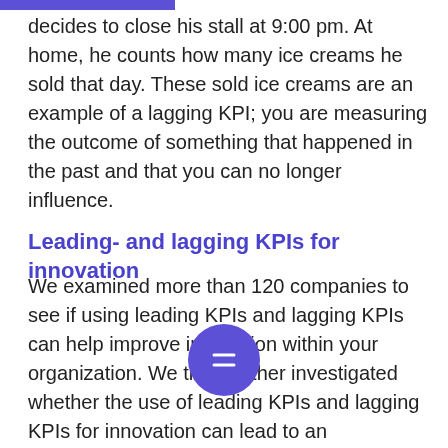decides to close his stall at 9:00 pm. At home, he counts how many ice creams he sold that day. These sold ice creams are an example of a lagging KPI; you are measuring the outcome of something that happened in the past and that you can no longer influence.
Leading- and lagging KPIs for innovation
We examined more than 120 companies to see if using leading KPIs and lagging KPIs can help improve innovation within your organization. We then further investigated whether the use of leading KPIs and lagging KPIs for innovation can lead to an improvement in business results. We validated that it is beneficial to use both leading KPIs and lagging KPIs for innovation processes for